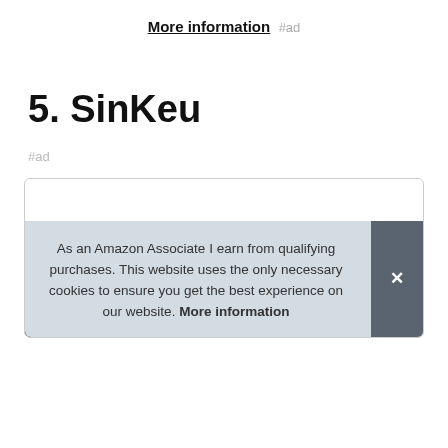More information #ad
5. SinKeu
#ad
As an Amazon Associate I earn from qualifying purchases. This website uses the only necessary cookies to ensure you get the best experience on our website. More information